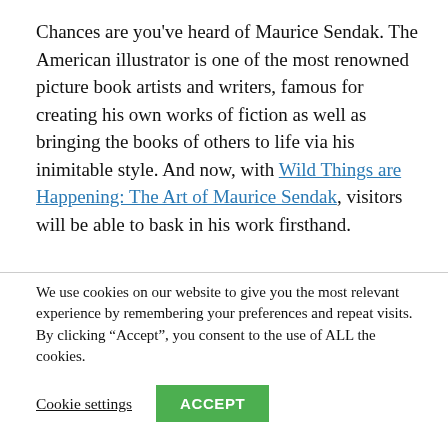Chances are you've heard of Maurice Sendak. The American illustrator is one of the most renowned picture book artists and writers, famous for creating his own works of fiction as well as bringing the books of others to life via his inimitable style. And now, with Wild Things are Happening: The Art of Maurice Sendak, visitors will be able to bask in his work firsthand.
We use cookies on our website to give you the most relevant experience by remembering your preferences and repeat visits. By clicking "Accept", you consent to the use of ALL the cookies.
Cookie settings | ACCEPT